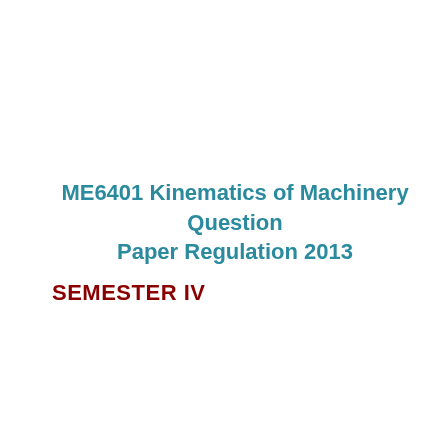ME6401 Kinematics of Machinery Question Paper Regulation 2013
SEMESTER IV